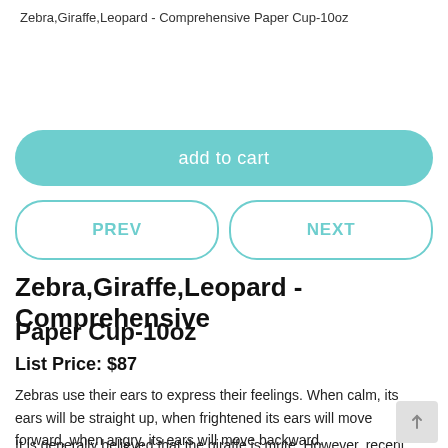Zebra,Giraffe,Leopard - Comprehensive Paper Cup-10oz
[Figure (other): Add to cart button - teal/green rounded rectangle button with white text 'add to cart']
[Figure (other): Navigation buttons - PREV and NEXT, outlined teal rounded rectangle buttons side by side]
Zebra,Giraffe,Leopard - Comprehensive Paper Cup-10oz
List Price: $87
Zebras use their ears to express their feelings. When calm, its ears will be straight up, when frightened its ears will move forward, when angry, its ears will move backward.
It is generally believed that the giraffe is mute. However, recent